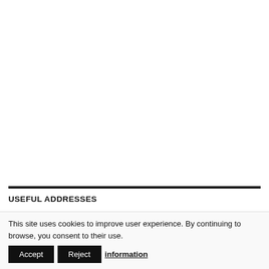USEFUL ADDRESSES
This site uses cookies to improve user experience. By continuing to browse, you consent to their use.
Accept
Reject
information